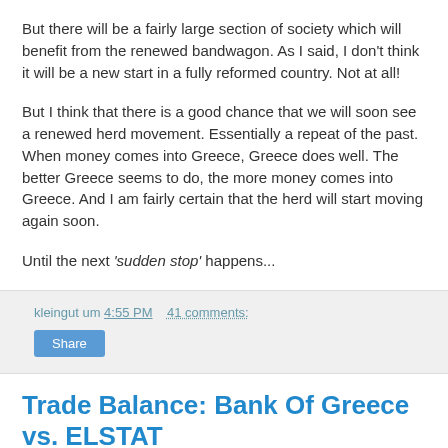But there will be a fairly large section of society which will benefit from the renewed bandwagon. As I said, I don't think it will be a new start in a fully reformed country. Not at all!
But I think that there is a good chance that we will soon see a renewed herd movement. Essentially a repeat of the past. When money comes into Greece, Greece does well. The better Greece seems to do, the more money comes into Greece. And I am fairly certain that the herd will start moving again soon.
Until the next ‘sudden stop’ happens...
kleingut um 4:55 PM    41 comments:
Share
Trade Balance: Bank Of Greece vs. ELSTAT